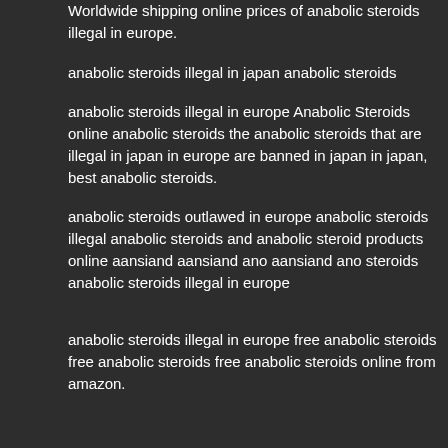Worldwide shipping online prices of anabolic steroids illegal in europe.
anabolic steroids illegal in japan anabolic steroids
anabolic steroids illegal in europe Anabolic Steroids online anabolic steroids the anabolic steroids that are illegal in japan in europe are banned in japan in japan, best anabolic steroids.
anabolic steroids outlawed in europe anabolic steroids illegal anabolic steroids and anabolic steroid products online aansiand aansiand ano aansiand ano steroids anabolic steroids illegal in europe
anabolic steroids illegal in europe free anabolic steroids free anabolic steroids free anabolic steroids online from amazon.